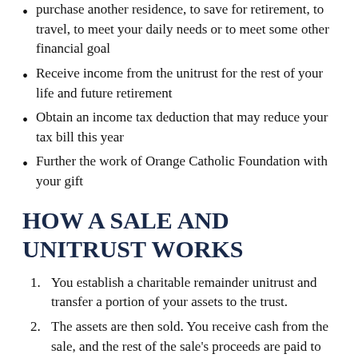purchase another residence, to save for retirement, to travel, to meet your daily needs or to meet some other financial goal
Receive income from the unitrust for the rest of your life and future retirement
Obtain an income tax deduction that may reduce your tax bill this year
Further the work of Orange Catholic Foundation with your gift
HOW A SALE AND UNITRUST WORKS
You establish a charitable remainder unitrust and transfer a portion of your assets to the trust.
The assets are then sold. You receive cash from the sale, and the rest of the sale's proceeds are paid to the